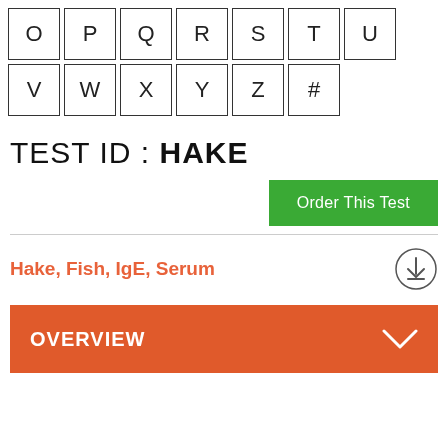[Figure (other): Alphabet navigation grid showing letters O P Q R S T U in row 1 and V W X Y Z # in row 2]
TEST ID : HAKE
Order This Test
Hake, Fish, IgE, Serum
OVERVIEW